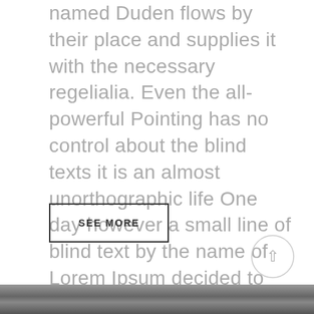named Duden flows by their place and supplies it with the necessary regelialia. Even the all-powerful Pointing has no control about the blind texts it is an almost unorthographic life One day however a small line of blind text by the name of Lorem Ipsum decided to leave for the far World of Grammar.
SEE MORE
[Figure (other): Circular scroll-to-top button with upward arrow]
[Figure (photo): Partial grayscale photograph visible at bottom of page]